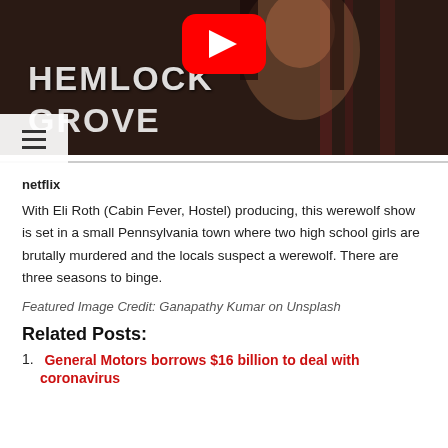[Figure (screenshot): Hemlock Grove Netflix show thumbnail with YouTube play button overlay. Dark horror-themed image with 'HEMLOCK GROVE' text on a person's face/torso background. Hamburger menu icon visible bottom-left.]
netflix
With Eli Roth (Cabin Fever, Hostel) producing, this werewolf show is set in a small Pennsylvania town where two high school girls are brutally murdered and the locals suspect a werewolf. There are three seasons to binge.
Featured Image Credit: Ganapathy Kumar on Unsplash
Related Posts:
General Motors borrows $16 billion to deal with coronavirus